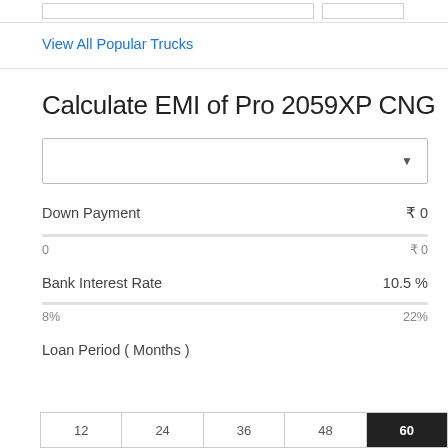View All Popular Trucks
Calculate EMI of Pro 2059XP CNG
Down Payment  ₹ 0
0  ₹ 0
Bank Interest Rate  10.5 %
8%  22%
Loan Period ( Months )
| 12 | 24 | 36 | 48 | 60 |
| --- | --- | --- | --- | --- |
| 12 | 24 | 36 | 48 | 60 |